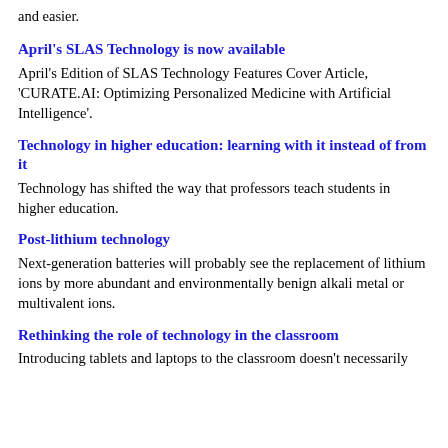and easier.
April's SLAS Technology is now available
April's Edition of SLAS Technology Features Cover Article, 'CURATE.AI: Optimizing Personalized Medicine with Artificial Intelligence'.
Technology in higher education: learning with it instead of from it
Technology has shifted the way that professors teach students in higher education.
Post-lithium technology
Next-generation batteries will probably see the replacement of lithium ions by more abundant and environmentally benign alkali metal or multivalent ions.
Rethinking the role of technology in the classroom
Introducing tablets and laptops to the classroom doesn't necessarily...